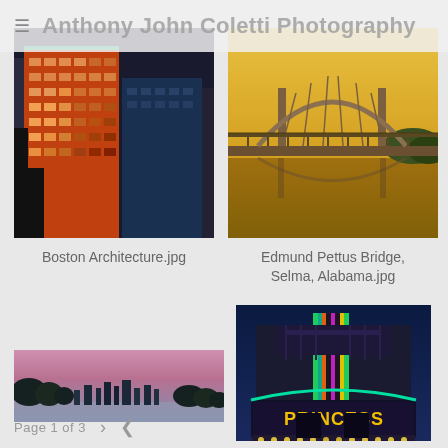Anthony John Coletti Photography
[Figure (photo): Orange-lit high-rise building in Boston at night/dusk, architectural shot looking up]
Boston Architecture.jpg
[Figure (photo): Edmund Pettus Bridge in Selma Alabama, arch bridge over river at golden sunset hour]
Edmund Pettus Bridge, Selma, Alabama.jpg
[Figure (photo): Panoramic city skyline at dusk with pink sky and trees silhouetted]
[Figure (photo): Princess Theatre marquee with colorful neon lights at night, Decatur Alabama]
Page 1 of 3